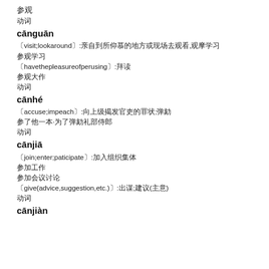参观
动词
cānguān
〔visit;lookaround〕:亲自到所仰慕的地方或现场去观看,观摩学习
参观学习
〔havethepleasureofperusing〕:拜读
参观大作
动词
cānhé
〔accuse;impeach〕:向上级揭发官吏的罪状;弹劾
参了他一本·为了弹劾礼部侍郎
动词
cānjiā
〔join;enter;paticipate〕:加入组织集体
参加工作
参加会议讨论
〔give(advice,suggestion,etc.)〕:出谋;建议(主意)
动词
cānjiàn